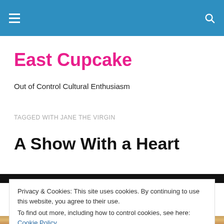East Cupcake — navigation header bar
East Cupcake
Out of Control Cultural Enthusiasm
TAGGED WITH JANE THE VIRGIN
A Show With a Heart
Privacy & Cookies: This site uses cookies. By continuing to use this website, you agree to their use.
To find out more, including how to control cookies, see here: Cookie Policy
Close and accept